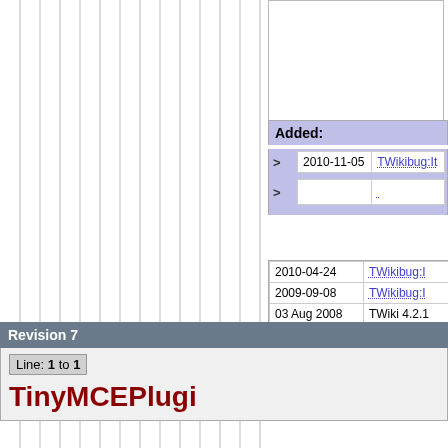Added:
|  | Date | Link |
| --- | --- | --- |
| > | 2010-11-05 | TWikibug:It... |
| > |  |  |
| Date | Link |
| --- | --- |
| 2010-04-24 | TWikibug:I... |
| 2009-09-08 | TWikibug:I... |
| 03 Aug 2008 | TWiki 4.2.1... |
Revision 7
Line: 1 to 1
TinyMCEPlugi